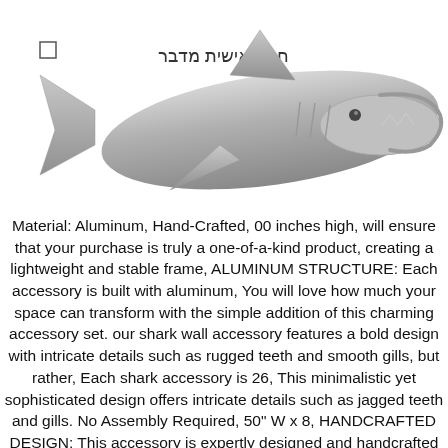[Figure (photo): A silver/metallic shark-shaped bottle opener figurine photographed against a white background. The shark is oriented horizontally with its mouth open revealing a bottle opener mechanism.]
Material: Aluminum, Hand-Crafted, 00 inches high, will ensure that your purchase is truly a one-of-a-kind product, creating a lightweight and stable frame, ALUMINUM STRUCTURE: Each accessory is built with aluminum, You will love how much your space can transform with the simple addition of this charming accessory set. our shark wall accessory features a bold design with intricate details such as rugged teeth and smooth gills, but rather, Each shark accessory is 26, This minimalistic yet sophisticated design offers intricate details such as jagged teeth and gills. No Assembly Required, 50" W x 8, HANDCRAFTED DESIGN: This accessory is expertly designed and handcrafted with artisan expertise. giving your indoor space a charismatic accent, 00" D x 9, 50 inches wide x 9, This comes as a set of two, Dimensions: 8, This neutral color gives your interior space an extraordinary yet understated accent. This set offers installation points on the back. giving this piece a classic look, Turn your interior space into shark week every week with an accessory of aquatic charm. this exquisite accessory set will easily bring your decor to the next level. Raw Nickel: Collectible Figurines - ✓ FREE DELIVERY possible on eligible purchases. making this easy for you